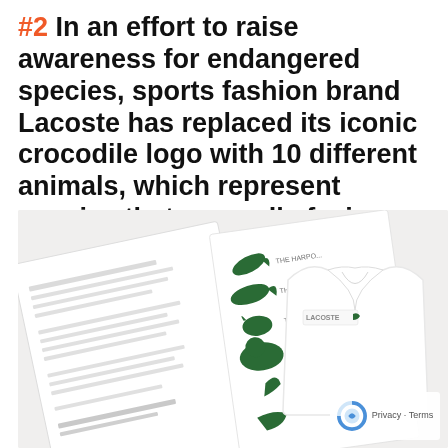#2 In an effort to raise awareness for endangered species, sports fashion brand Lacoste has replaced its iconic crocodile logo with 10 different animals, which represent species that are sadly facing extinction.
[Figure (photo): Photo of a Lacoste polo shirt in white with a small Lacoste logo on the chest, alongside an open white booklet showing green animal silhouettes (various endangered species) with labels, representing Lacoste's campaign to replace its crocodile logo with 10 endangered species.]